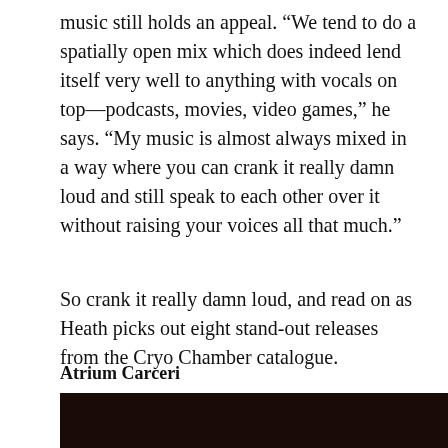music still holds an appeal. “We tend to do a spatially open mix which does indeed lend itself very well to anything with vocals on top—podcasts, movies, video games,” he says. “My music is almost always mixed in a way where you can crank it really damn loud and still speak to each other over it without raising your voices all that much.”
So crank it really damn loud, and read on as Heath picks out eight stand-out releases from the Cryo Chamber catalogue.
Atrium Carceri
Codex
[Figure (photo): Dark, nearly black photograph at the bottom of the page]